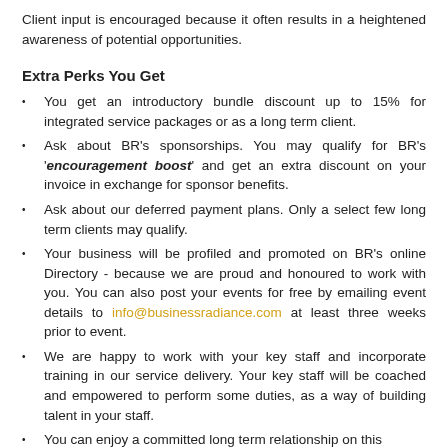Client input is encouraged because it often results in a heightened awareness of potential opportunities.
Extra Perks You Get
You get an introductory bundle discount up to 15% for integrated service packages or as a long term client.
Ask about BR's sponsorships. You may qualify for BR's 'encouragement boost' and get an extra discount on your invoice in exchange for sponsor benefits.
Ask about our deferred payment plans. Only a select few long term clients may qualify.
Your business will be profiled and promoted on BR's online Directory - because we are proud and honoured to work with you. You can also post your events for free by emailing event details to info@businessradiance.com at least three weeks prior to event.
We are happy to work with your key staff and incorporate training in our service delivery. Your key staff will be coached and empowered to perform some duties, as a way of building talent in your staff.
You can enjoy a committed long term relationship on this